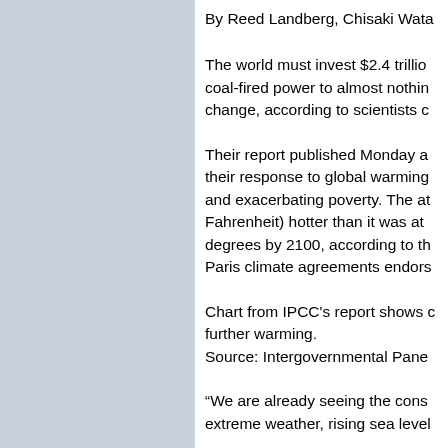By Reed Landberg, Chisaki Wata
The world must invest $2.4 trillion in clean energy every year until 2035 and cut coal-fired power to almost nothing by mid-century to limit climate change, according to scientists c
Their report published Monday a their response to global warming and exacerbating poverty. The at Fahrenheit) hotter than it was at degrees by 2100, according to th Paris climate agreements endors
Chart from IPCC's report shows further warming.
Source: Intergovernmental Pane
“We are already seeing the cons extreme weather, rising sea level